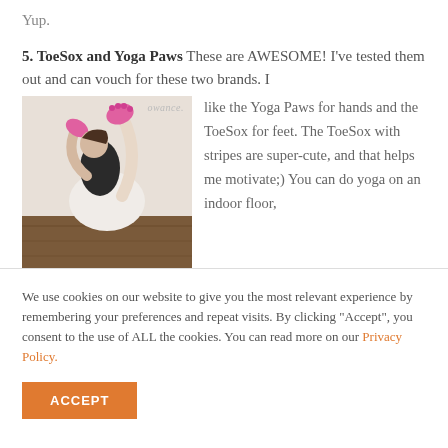Yup.
5. ToeSox and Yoga Paws These are AWESOME! I've tested them out and can vouch for these two brands. I like the Yoga Paws for hands and the ToeSox for feet. The ToeSox with stripes are super-cute, and that helps me motivate;) You can do yoga on an indoor floor,
[Figure (photo): Person in yoga pose wearing pink toe socks and white shorts, holding their foot up while balancing. Watermark reads 'owance.' in top right corner.]
We use cookies on our website to give you the most relevant experience by remembering your preferences and repeat visits. By clicking "Accept", you consent to the use of ALL the cookies. You can read more on our Privacy Policy.